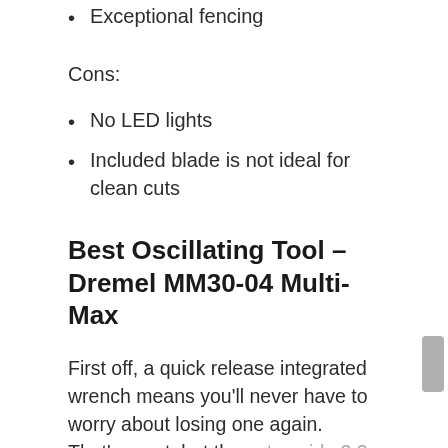Exceptional fencing
Cons:
No LED lights
Included blade is not ideal for clean cuts
Best Oscillating Tool – Dremel MM30-04 Multi-Max
First off, a quick release integrated wrench means you'll never have to worry about losing one again. That's great, but the extra wide 3.2-degree oscillation angle is